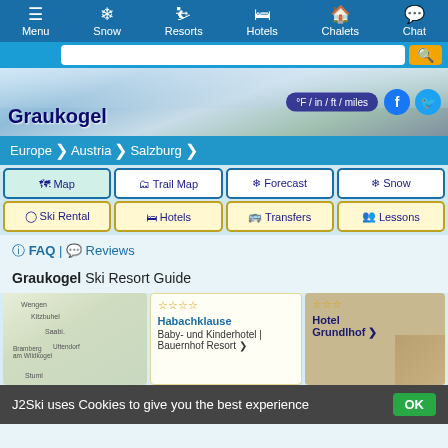Menu | Snow | Resorts | Hotels | Chalets | Chat
[Figure (screenshot): Hero banner showing snowy mountain landscape with Graukogel title, °F/in/ft/miles unit toggle button, Facebook and Twitter social icons]
Europe > Austria > Salzburg breadcrumb navigation
Map | Trail Map | Forecast | Snow | Ski Rental | Hotels | Transfers | Lessons buttons
FAQ | Reviews
Graukogel Ski Resort Guide
[Figure (map): Map thumbnail showing region around Graukogel, Kitzbuhel, Saalbach, Bramberg am Wildkogel, Uttendorf]
Habachklause Baby- und Kinderhotel | Bauernhof Resort
Hotel Grundlhof
J2Ski uses Cookies to give you the best experience OK